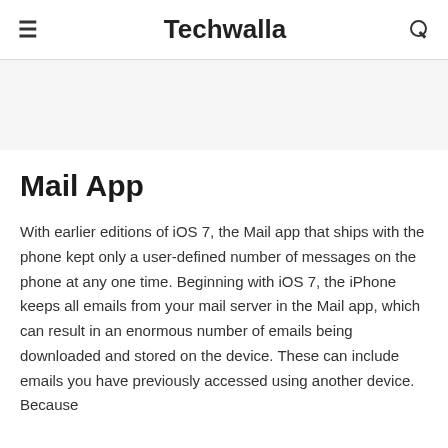≡  Techwalla  🔍
Mail App
With earlier editions of iOS 7, the Mail app that ships with the phone kept only a user-defined number of messages on the phone at any one time. Beginning with iOS 7, the iPhone keeps all emails from your mail server in the Mail app, which can result in an enormous number of emails being downloaded and stored on the device. These can include emails you have previously accessed using another device. Because